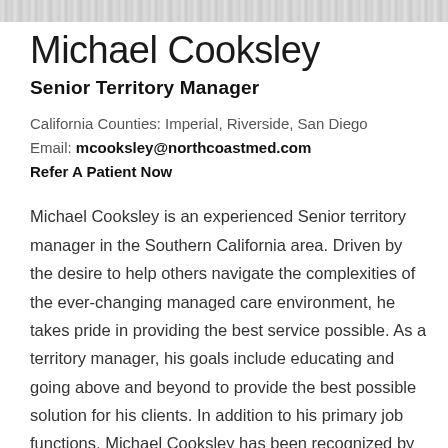[Figure (other): Decorative header bar with grainy/textured pattern in light gray tones]
Michael Cooksley
Senior Territory Manager
California Counties: Imperial, Riverside, San Diego
Email: mcooksley@northcoastmed.com
Refer A Patient Now
Michael Cooksley is an experienced Senior territory manager in the Southern California area. Driven by the desire to help others navigate the complexities of the ever-changing managed care environment, he takes pride in providing the best service possible. As a territory manager, his goals include educating and going above and beyond to provide the best possible solution for his clients. In addition to his primary job functions, Michael Cooksley has been recognized by his customers and referral sources for his extraordinary